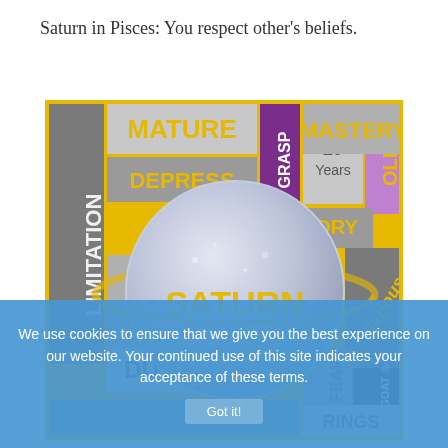Saturn in Pisces: You respect other’s beliefs.
[Figure (illustration): Colorful infographic about the planet Saturn showing keywords like MATURE, DEPRESS, LIMITATION, SATURDAY, DUTY, GRASP, LEAD, 29 Years, OLD, MASTERY, DRY, Serious, FEAR, SEAGOAT, RINGS, CAPRICORN, TIME, with a central illustration of Saturn with its rings.]
We use cookies to ensure that we give you the best experience on our website. Your continued use of this site indicates your acceptance of these terms.